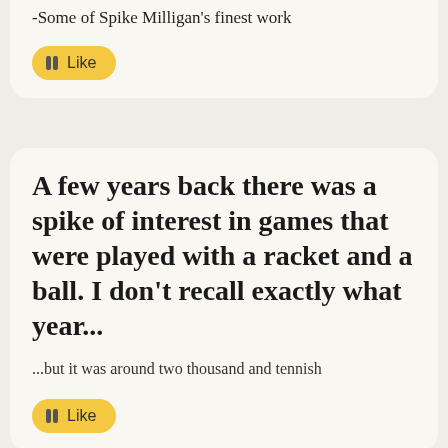-Some of Spike Milligan's finest work
[Figure (other): Yellow 'Like' button with two bar icons]
A few years back there was a spike of interest in games that were played with a racket and a ball. I don't recall exactly what year...
...but it was around two thousand and tennish
[Figure (other): Yellow 'Like' button with two bar icons]